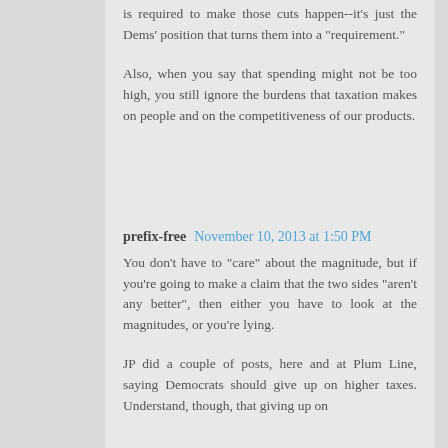is required to make those cuts happen--it's just the Dems' position that turns them into a "requirement."
Also, when you say that spending might not be too high, you still ignore the burdens that taxation makes on people and on the competitiveness of our products.
prefix-free  November 10, 2013 at 1:50 PM
You don't have to "care" about the magnitude, but if you're going to make a claim that the two sides "aren't any better", then either you have to look at the magnitudes, or you're lying.
JP did a couple of posts, here and at Plum Line, saying Democrats should give up on higher taxes. Understand, though, that giving up on